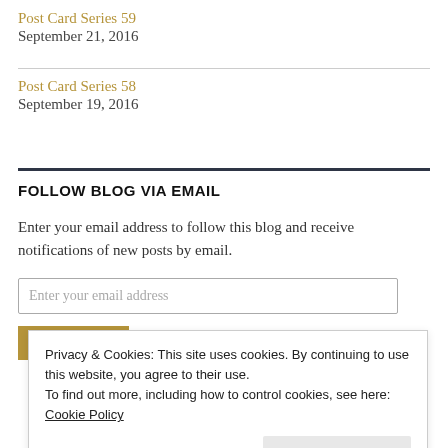Post Card Series 59
September 21, 2016
Post Card Series 58
September 19, 2016
FOLLOW BLOG VIA EMAIL
Enter your email address to follow this blog and receive notifications of new posts by email.
Enter your email address
FOLLOW
Privacy & Cookies: This site uses cookies. By continuing to use this website, you agree to their use.
To find out more, including how to control cookies, see here: Cookie Policy
Close and accept